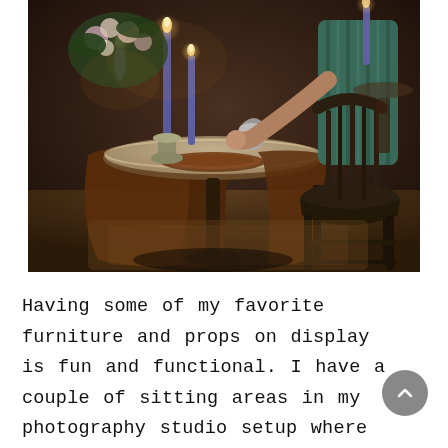[Figure (photo): A person wearing a green striped apron arranges items on a dark round side table draped with a brown cloth. Blue candles, a floral arrangement, and various decorative props are visible. A dark Windsor-style chair is in the foreground right. The scene has warm, candlelit ambiance suggestive of a styled photography studio setup.]
Having some of my favorite furniture and props on display is fun and functional. I have a couple of sitting areas in my photography studio setup where I can